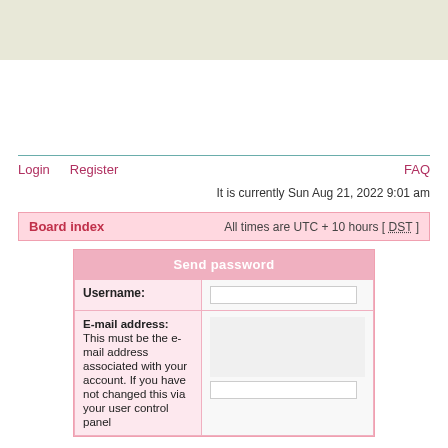Login   Register   FAQ
It is currently Sun Aug 21, 2022 9:01 am
Board index   All times are UTC + 10 hours [ DST ]
Send password
| Field | Input |
| --- | --- |
| Username: |  |
| E-mail address:
This must be the e-mail address associated with your account. If you have not changed this via your user control panel |  |